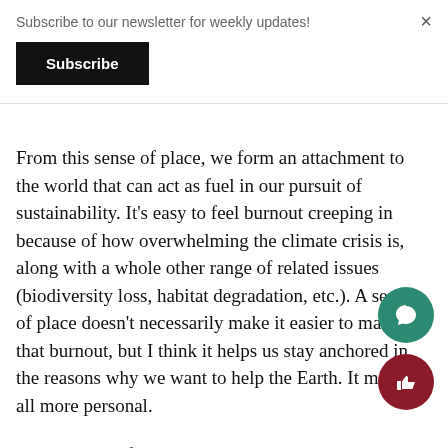Subscribe to our newsletter for weekly updates!
Subscribe
From this sense of place, we form an attachment to the world that can act as fuel in our pursuit of sustainability. It's easy to feel burnout creeping in because of how overwhelming the climate crisis is, along with a whole other range of related issues (biodiversity loss, habitat degradation, etc.). A sense of place doesn't necessarily make it easier to manage that burnout, but I think it helps us stay anchored in the reasons why we want to help the Earth. It makes it all more personal.
With a sense of place also must come an acknowledgement of the land we reflect on. He...